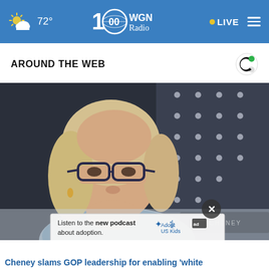72° WGN Radio LIVE
AROUND THE WEB
[Figure (photo): Close-up photo of a blonde woman with glasses seated at what appears to be a congressional hearing, with an American flag visible in the background. The woman appears serious or concerned.]
Listen to the new podcast about adoption.
Cheney slams GOP leadership for enabling 'white